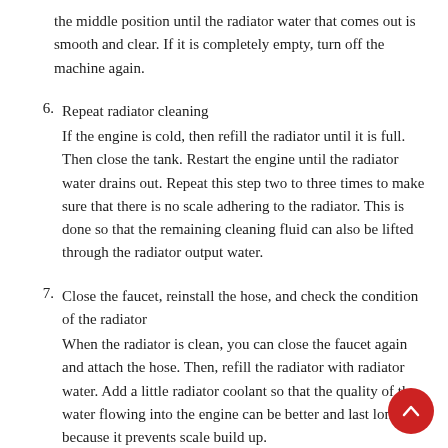the middle position until the radiator water that comes out is smooth and clear. If it is completely empty, turn off the machine again.
6. Repeat radiator cleaning
If the engine is cold, then refill the radiator until it is full. Then close the tank. Restart the engine until the radiator water drains out. Repeat this step two to three times to make sure that there is no scale adhering to the radiator. This is done so that the remaining cleaning fluid can also be lifted through the radiator output water.
7. Close the faucet, reinstall the hose, and check the condition of the radiator
When the radiator is clean, you can close the faucet again and attach the hose. Then, refill the radiator with radiator water. Add a little radiator coolant so that the quality of the water flowing into the engine can be better and last longer because it prevents scale build up.